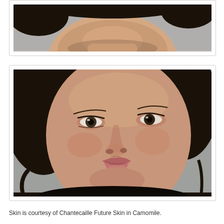[Figure (photo): Partial view of a person's face and neck area, seen from below/side, dark hair visible, neutral background]
[Figure (photo): Close-up portrait photo of an Asian woman's face, looking slightly to the side, wearing minimal makeup, dark hair, neutral grey background]
Skin is courtesy of Chantecaille Future Skin in Camomile.